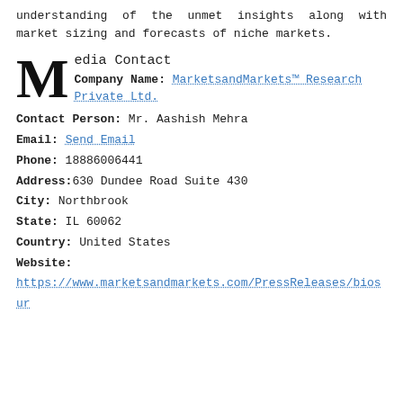understanding of the unmet insights along with market sizing and forecasts of niche markets.
Media Contact
Company Name: MarketsandMarkets™ Research Private Ltd.
Contact Person: Mr. Aashish Mehra
Email: Send Email
Phone: 18886006441
Address: 630 Dundee Road Suite 430
City: Northbrook
State: IL 60062
Country: United States
Website: https://www.marketsandmarkets.com/PressReleases/biosur